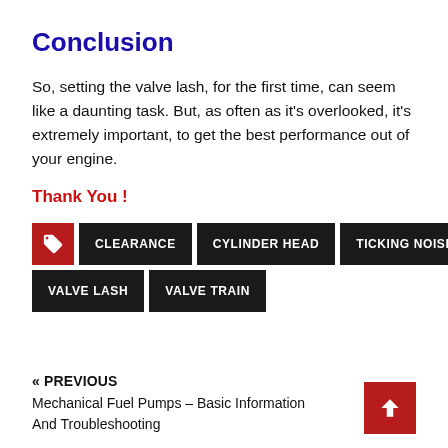Conclusion
So, setting the valve lash, for the first time, can seem like a daunting task. But, as often as it's overlooked, it's extremely important, to get the best performance out of your engine.
Thank You !
CLEARANCE
CYLINDER HEAD
TICKING NOISE
VALVE LASH
VALVE TRAIN
« PREVIOUS
Mechanical Fuel Pumps – Basic Information And Troubleshooting